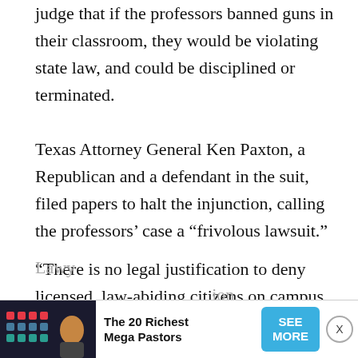judge that if the professors banned guns in their classroom, they would be violating state law, and could be disciplined or terminated.
Texas Attorney General Ken Paxton, a Republican and a defendant in the suit, filed papers to halt the injunction, calling the professors' case a “frivolous lawsuit.”
“There is no legal justification to deny licensed, law-abiding citizens on campus the same measure of personal protection they are entitled to elsewhere in Texas,” Paxton said in a statement this week.
Lawy... ion before...
[Figure (other): Advertisement banner: The 20 Richest Mega Pastors with SEE MORE button and close (X) button]